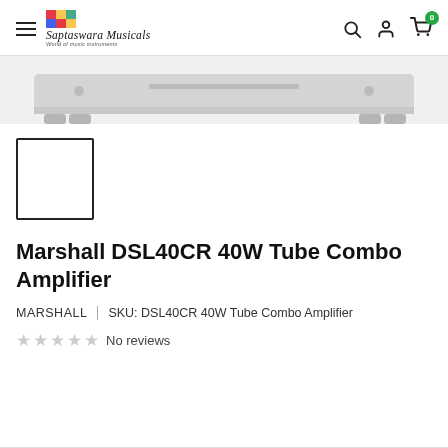Saptaswara Musicals
[Figure (photo): Partial view of a Marshall DSL40CR tube combo amplifier, showing the top edge of the unit in gray against a white background.]
[Figure (photo): Thumbnail image placeholder box with black border, white interior, representing product thumbnail for the Marshall DSL40CR.]
Marshall DSL40CR 40W Tube Combo Amplifier
MARSHALL | SKU: DSL40CR 40W Tube Combo Amplifier
★★★★★ No reviews